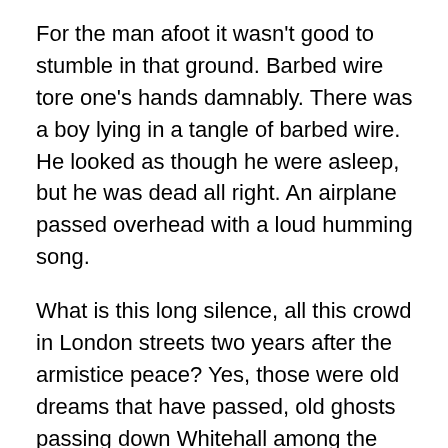For the man afoot it wasn't good to stumble in that ground. Barbed wire tore one's hands damnably. There was a boy lying in a tangle of barbed wire. He looked as though he were asleep, but he was dead all right. An airplane passed overhead with a loud humming song.
What is this long silence, all this crowd in London streets two years after the armistice peace? Yes, those were old dreams that have passed, old ghosts passing down Whitehall among the living.
The silence ended. Some word rang out, bugles were blowing, they were sounding the “Last Post” to the unknown warrior of the Great War in which many men died without record or renown. Farther than Whitehall sounded the “Last Post” to the dead. Did the whole army of the dead hear that call to them from the living?